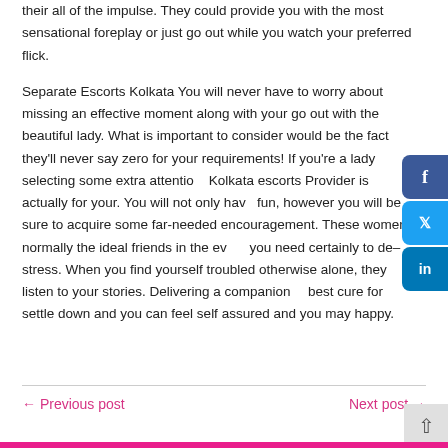their all of the impulse. They could provide you with the most sensational foreplay or just go out while you watch your preferred flick.
Separate Escorts Kolkata You will never have to worry about missing an effective moment along with your go out with the beautiful lady. What is important to consider would be the fact they'll never say zero for your requirements! If you're a lady selecting some extra attention, Kolkata escorts Provider is actually for your. You will not only have fun, however you will be sure to acquire some far-needed encouragement. These women normally the ideal friends in the event you need certainly to de–stress. When you find yourself troubled otherwise alone, they listen to your stories. Delivering a companion is best cure for settle down and you can feel self assured and you may happy.
← Previous post    Next post →